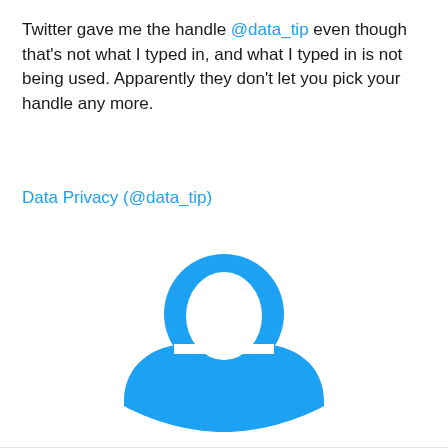Twitter gave me the handle @data_tip even though that's not what I typed in, and what I typed in is not being used. Apparently they don't let you pick your handle any more.
Data Privacy (@data_tip)
[Figure (illustration): Twitter default profile avatar icon — a blue circle silhouette of a person (head and shoulders) with white cutout, on white background]